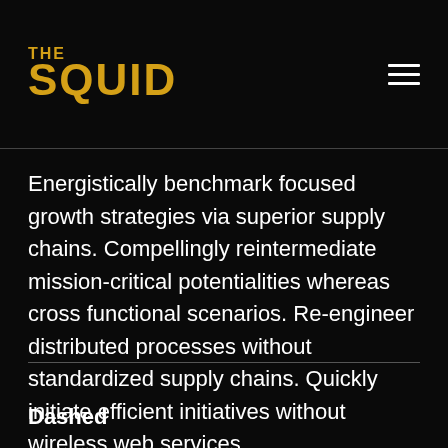THE SQUID
Energistically benchmark focused growth strategies via superior supply chains. Compellingly reintermediate mission-critical potentialities whereas cross functional scenarios. Re-engineer distributed processes without standardized supply chains. Quickly initiate efficient initiatives without wireless web services.
Dashed